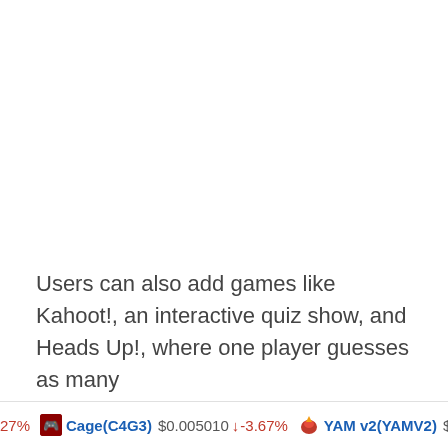Users can also add games like Kahoot!, an interactive quiz show, and Heads Up!, where one player guesses as many
27%  Cage(C4G3)  $0.005010  ↓ -3.67%  YAM v2(YAMV2)  $4...